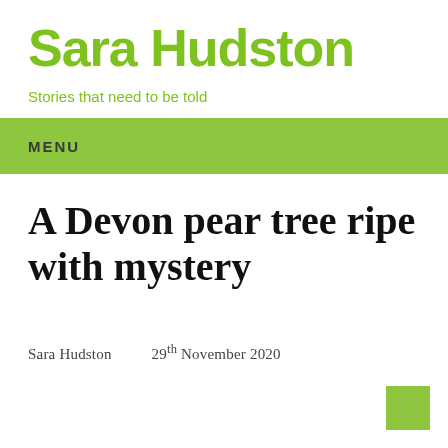Sara Hudston
Stories that need to be told
MENU
A Devon pear tree ripe with mystery
Sara Hudston     29th November 2020